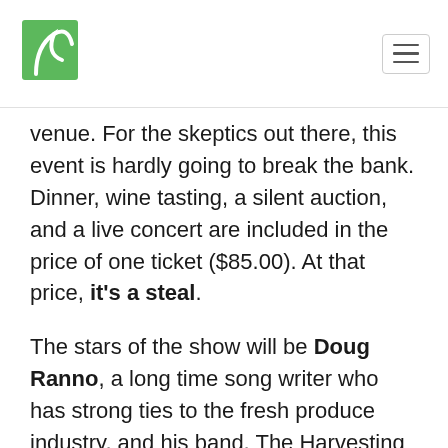[Logo] [Navigation menu icon]
venue. For the skeptics out there, this event is hardly going to break the bank. Dinner, wine tasting, a silent auction, and a live concert are included in the price of one ticket ($85.00). At that price, it's a steal.
The stars of the show will be Doug Ranno, a long time song writer who has strong ties to the fresh produce industry, and his band, The Harvesting Crew. Get a taste of California country mixed with Nashville and a hint of Delta blues while feasting on an incredible dinner and tossing back a couple glasses of wine. Don't be